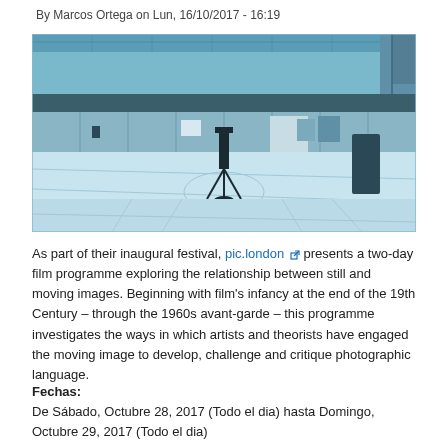By Marcos Ortega on Lun, 16/10/2017 - 16:19
[Figure (photo): Blue-tinted black and white photograph of an indoor gymnasium or sports hall with a polished floor, metal equipment stands in the center, and storage cabinets along the back wall.]
As part of their inaugural festival, pic.london presents a two-day film programme exploring the relationship between still and moving images. Beginning with film's infancy at the end of the 19th Century – through the 1960s avant-garde – this programme investigates the ways in which artists and theorists have engaged the moving image to develop, challenge and critique photographic language.
Fechas:
De Sábado, Octubre 28, 2017 (Todo el dia) hasta Domingo, Octubre 29, 2017 (Todo el dia)